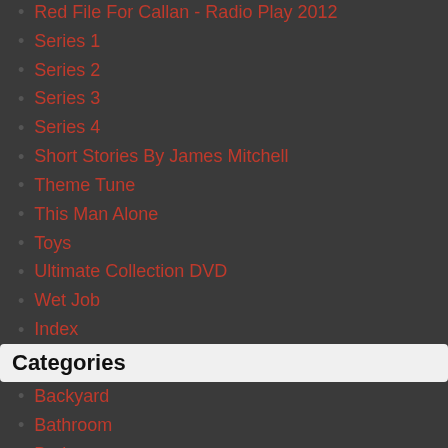Red File For Callan - Radio Play 2012
Series 1
Series 2
Series 3
Series 4
Short Stories By James Mitchell
Theme Tune
This Man Alone
Toys
Ultimate Collection DVD
Wet Job
Index
Categories
Backyard
Bathroom
Bedroom
Dining Room
Garage
Kids Room
Kitchen
Library
Lounge
Office